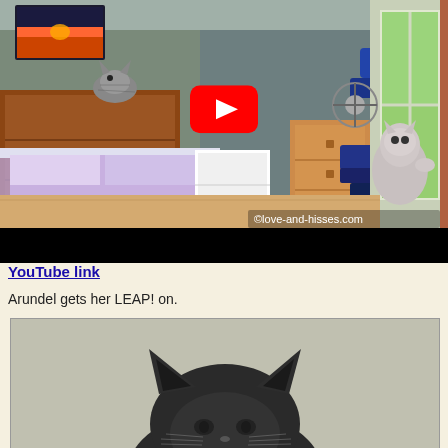[Figure (screenshot): YouTube video thumbnail showing a room with cats, a cat tree/scratching post, bedroom furniture, and a window. A gray cat is visible near the window by a cat tree. A tabby cat sits on wooden furniture on the left. A YouTube play button (red with white triangle) is overlaid in the center. Copyright watermark reads ©love-and-hisses.com in the bottom right. Below the thumbnail is a black letterbox bar.]
YouTube link
Arundel gets her LEAP! on.
[Figure (photo): Close-up photo of a dark gray/black cat's head and ears peeking up from the bottom of the frame against a light gray/beige background. Only the top of the head, ears, and eyes are visible.]